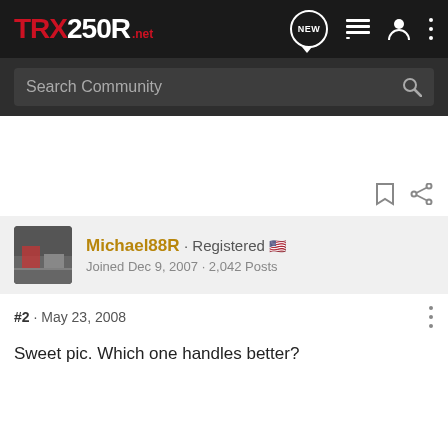TRX250R.net
Search Community
Michael88R · Registered
Joined Dec 9, 2007 · 2,042 Posts
#2 · May 23, 2008
Sweet pic. Which one handles better?